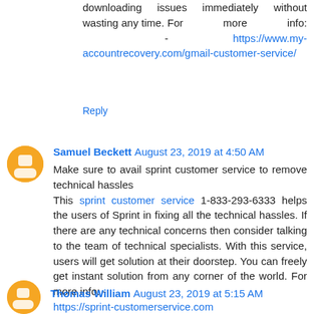downloading issues immediately without wasting any time. For more info: - https://www.my-accountrecovery.com/gmail-customer-service/
Reply
Samuel Beckett August 23, 2019 at 4:50 AM
Make sure to avail sprint customer service to remove technical hassles
This sprint customer service 1-833-293-6333 helps the users of Sprint in fixing all the technical hassles. If there are any technical concerns then consider talking to the team of technical specialists. With this service, users will get solution at their doorstep. You can freely get instant solution from any corner of the world. For more info: - https://sprint-customerservice.com
Reply
Thomas William August 23, 2019 at 5:15 AM